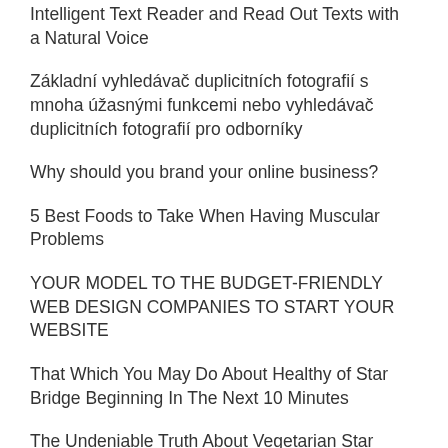Intelligent Text Reader and Read Out Texts with a Natural Voice
Základní vyhledávač duplicitních fotografií s mnoha úžasnými funkcemi nebo vyhledávač duplicitních fotografií pro odborníky
Why should you brand your online business?
5 Best Foods to Take When Having Muscular Problems
YOUR MODEL TO THE BUDGET-FRIENDLY WEB DESIGN COMPANIES TO START YOUR WEBSITE
That Which You May Do About Healthy of Star Bridge Beginning In The Next 10 Minutes
The Undeniable Truth About Vegetarian Star Bridge That No Body Is Telling You